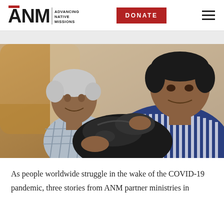ANM - Advancing Native Missions | DONATE
[Figure (photo): An elderly Filipino man smiling and seated, with a younger man in a striped shirt holding a large black plastic bag of supplies, appearing to be donating food or aid items.]
As people worldwide struggle in the wake of the COVID-19 pandemic, three stories from ANM partner ministries in